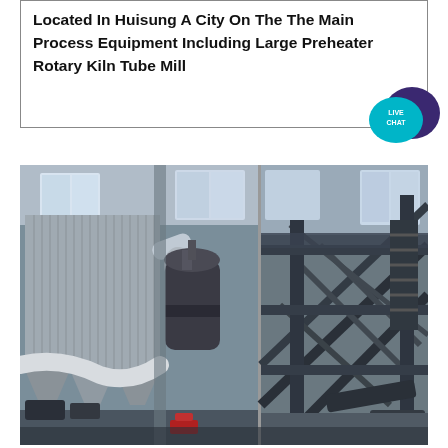Located In Huisung A City On The The Main Process Equipment Including Large Preheater Rotary Kiln Tube Mill
[Figure (photo): Industrial facility interior showing large process equipment including dust collectors, tube mills, and metal framework structures. The image is split into two panels: left panel shows silver corrugated dust collector/preheater structure with hoppers and large cylindrical mill, right panel shows heavy steel lattice framework and conveyor structures inside a large industrial building.]